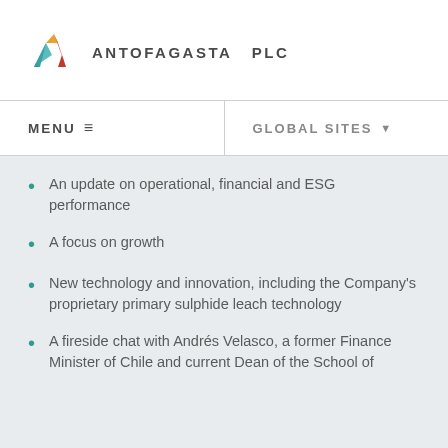[Figure (logo): Antofagasta PLC logo with multicolored mountain/arrow mark in teal, orange, red, and yellow, followed by company name ANTOFAGASTA PLC in bold dark gray lettering]
MENU   GLOBAL SITES
An update on operational, financial and ESG performance
A focus on growth
New technology and innovation, including the Company's proprietary primary sulphide leach technology
A fireside chat with Andrés Velasco, a former Finance Minister of Chile and current Dean of the School of